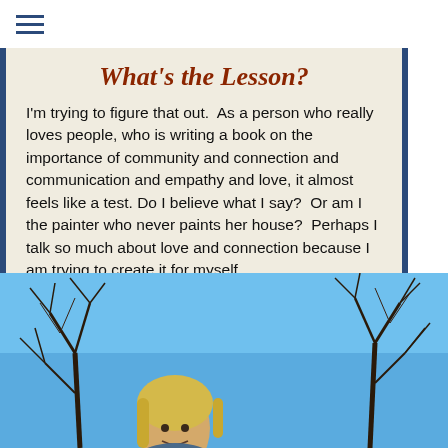≡
What's the Lesson?
I'm trying to figure that out.  As a person who really loves people, who is writing a book on the importance of community and connection and communication and empathy and love, it almost feels like a test. Do I believe what I say?  Or am I the painter who never paints her house?  Perhaps I talk so much about love and connection because I am trying to create it for myself.
[Figure (photo): Outdoor photo of a person with blonde hair looking up toward a blue sky with bare tree branches overhead]